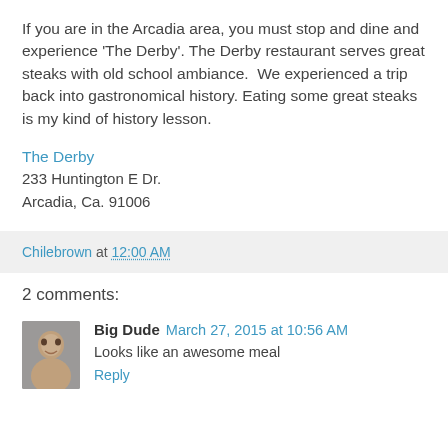If you are in the Arcadia area, you must stop and dine and experience 'The Derby'. The Derby restaurant serves great steaks with old school ambiance.  We experienced a trip back into gastronomical history. Eating some great steaks is my kind of history lesson.
The Derby
233 Huntington E Dr.
Arcadia, Ca. 91006
Chilebrown at 12:00 AM
2 comments:
[Figure (photo): Avatar photo of commenter Big Dude, showing a man's face]
Big Dude March 27, 2015 at 10:56 AM
Looks like an awesome meal
Reply